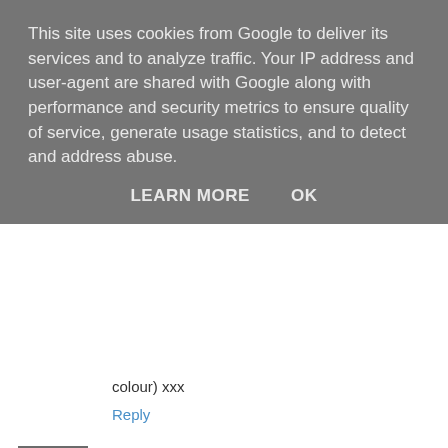This site uses cookies from Google to deliver its services and to analyze traffic. Your IP address and user-agent are shared with Google along with performance and security metrics to ensure quality of service, generate usage statistics, and to detect and address abuse.
LEARN MORE    OK
colour) xxx
Reply
makeupbykaty 26 May 2010 at 17:33
I never get on with self tan sprays. I always end up looking RIDIC! I have found for me the best way to use a proper full on self tan is to use one of the everyday ones for a week or so before hand, to take the blue edge off so to speak. That way, any stripes I accidentally leave will only reveal a soft biscuit beige colour as opposed to a fluro-white. If it has to be spray, I have a Fake-bake spray tan done by a professional, boobs and all (tart) and they never streak.